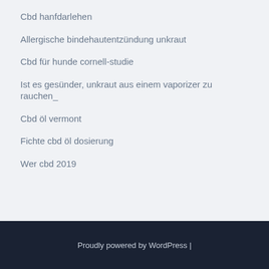Cbd hanfdarlehen
Allergische bindehautentzündung unkraut
Cbd für hunde cornell-studie
Ist es gesünder, unkraut aus einem vaporizer zu rauchen_
Cbd öl vermont
Fichte cbd öl dosierung
Wer cbd 2019
Proudly powered by WordPress |